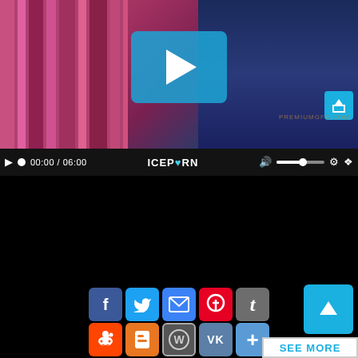[Figure (screenshot): Video player screenshot showing a video thumbnail with a cyan play button overlay, video controls bar at bottom showing 00:00/06:00 timestamp and ICEPORN branding, share button, and social media sharing icons below (Facebook, Twitter, Email, Pinterest, Tumblr, Reddit, Blogger, WordPress, VK, share-more). A 'SEE MORE' button is visible at the bottom right.]